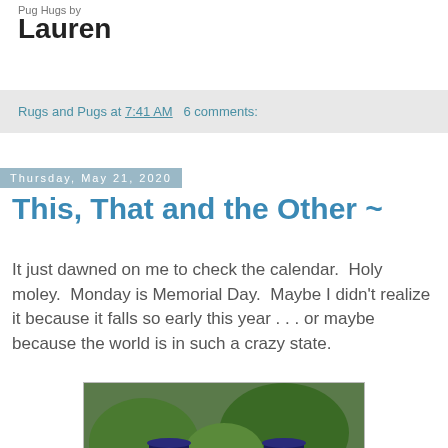Pug Hugs by
Lauren
Rugs and Pugs at 7:41 AM   6 comments:
Thursday, May 21, 2020
This, That and the Other ~
It just dawned on me to check the calendar.  Holy moley.  Monday is Memorial Day.  Maybe I didn't realize it because it falls so early this year . . . or maybe because the world is in such a crazy state.
[Figure (photo): Two pugs wearing patriotic accessories including American flag hats and scarves, with small American flags beside them, photographed outdoors near a wooden fence with green foliage in the background.]